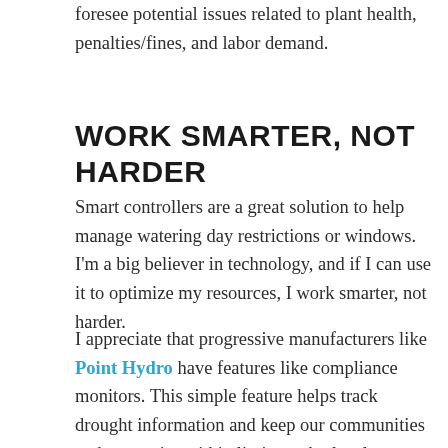foresee potential issues related to plant health, penalties/fines, and labor demand.
WORK SMARTER, NOT HARDER
Smart controllers are a great solution to help manage watering day restrictions or windows. I'm a big believer in technology, and if I can use it to optimize my resources, I work smarter, not harder.
I appreciate that progressive manufacturers like Point Hydro have features like compliance monitors. This simple feature helps track drought information and keep our communities and properties within limits set by local municipalities. Explaining this feature to any potential customer during a drought is a game changer. Along with helping manage watering schedules while keeping plants healthy, other benefits include labor savings, reduced